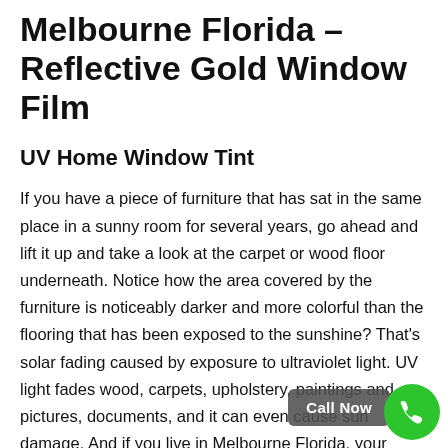Melbourne Florida – Reflective Gold Window Film
UV Home Window Tint
If you have a piece of furniture that has sat in the same place in a sunny room for several years, go ahead and lift it up and take a look at the carpet or wood floor underneath. Notice how the area covered by the furniture is noticeably darker and more colorful than the flooring that has been exposed to the sunshine? That's solar fading caused by exposure to ultraviolet light. UV light fades wood, carpets, upholstery, paintings and pictures, documents, and it can even cause sun damage. And if you live in Melbourne Florida, your home sees a whole lot of sunshine. Which means it's likely seeing a lot of sun damage that you might not even know is